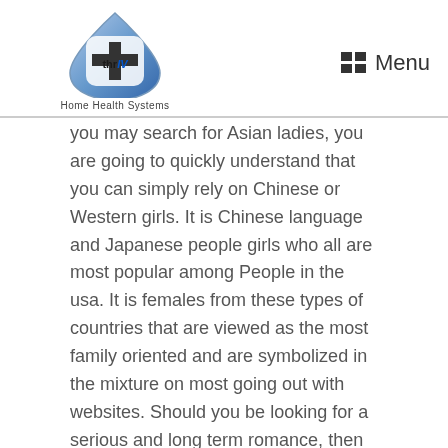[Figure (logo): thrIV Home Health Systems logo: a blue water droplet shape containing a white cross/plus sign with 'thrIV' text inside]
Home Health Systems
Menu
you may search for Asian ladies, you are going to quickly understand that you can simply rely on Chinese or Western girls. It is Chinese language and Japanese people girls who all are most popular among People in the usa. It is females from these types of countries that are viewed as the most family oriented and are symbolized in the mixture on most going out with websites. Should you be looking for a serious and long term romance, then you simply have to think about a convenient marriage and find a young and charming Oriental wife.